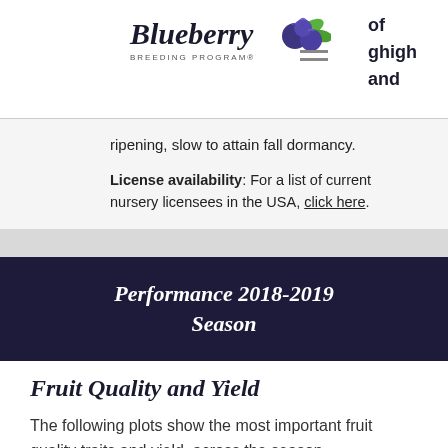Blueberry Breeding Program — of ghigh and
ripening, slow to attain fall dormancy.
License availability: For a list of current nursery licensees in the USA, click here.
Performance 2018-2019 Season
Fruit Quality and Yield
The following plots show the most important fruit quality traits and yield, across the season.
The vertical lines in the yield plots